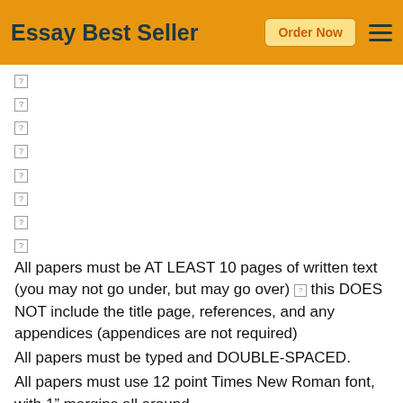Essay Best Seller | Order Now
🔲
🔲
🔲
🔲
🔲
🔲
🔲
🔲
All papers must be AT LEAST 10 pages of written text (you may not go under, but may go over) ▯ this DOES NOT include the title page, references, and any appendices (appendices are not required)
All papers must be typed and DOUBLE-SPACED.
All papers must use 12 point Times New Roman font, with 1" margins all around
All papers must have page numbers (excluding the cover page) in the top right-hand corner